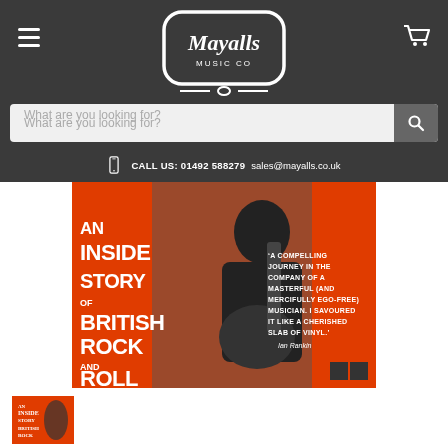[Figure (logo): Mayalls Music Co logo in white on dark grey header background]
What are you looking for?
CALL US: 01492 588279  sales@mayalls.co.uk
[Figure (photo): Book cover: An Inside Story of British Rock and Roll. Orange background with black-and-white photo of guitarist. Quote: 'A compelling journey in the company of a masterful (and mercifully ego-free) musician. I savoured it like a cherished slab of vinyl.' - Ian Rankin]
[Figure (thumbnail): Small thumbnail of the book cover]